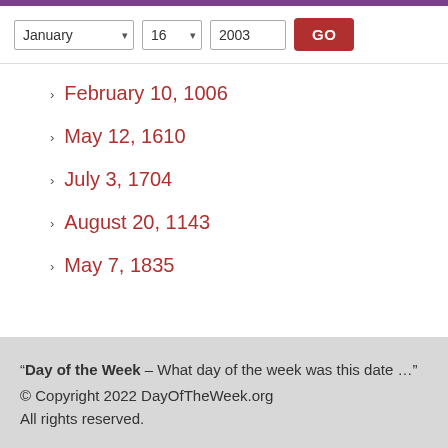Purple top bar
January 16 2003 GO
February 10, 1006
May 12, 1610
July 3, 1704
August 20, 1143
May 7, 1835
"Day of the Week – What day of the week was this date ..." © Copyright 2022 DayOfTheWeek.org All rights reserved.